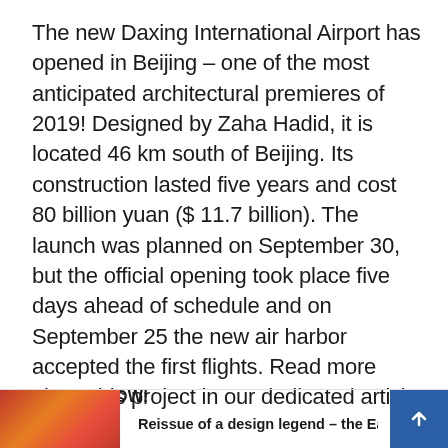The new Daxing International Airport has opened in Beijing – one of the most anticipated architectural premieres of 2019! Designed by Zaha Hadid, it is located 46 km south of Beijing. Its construction lasted five years and cost 80 billion yuan ($ 11.7 billion). The launch was planned on September 30, but the official opening took place five days ahead of schedule and on September 25 the new air harbor accepted the first flights. Read more about this project in our dedicated article.
READ IT NOW!
[Figure (photo): Partial thumbnail image with orange-red tones at the bottom left, next to text reading 'Reissue of a design legend – the Easy sofa by']
Reissue of a design legend – the Easy sofa by